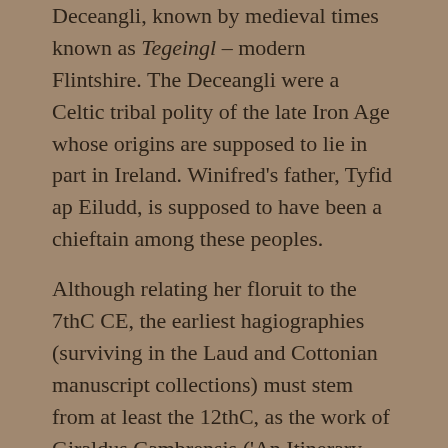Deceangli, known by medieval times known as Tegeingl – modern Flintshire. The Deceangli were a Celtic tribal polity of the late Iron Age whose origins are supposed to lie in part in Ireland. Winifred's father, Tyfid ap Eiludd, is supposed to have been a chieftain among these peoples.
Although relating her floruit to the 7thC CE, the earliest hagiographies (surviving in the Laud and Cottonian manuscript collections) must stem from at least the 12thC, as the work of Giraldus Cambrensis ('An Itinerary through Wales') from that century makes no mention of Winifred's Well and its supposedly famous shrine. The 12thC was an important period for clerical writers who were busily remodelling the more ancient and often syncretic traditions of the past in order to suit the anti-heretical world of new Christian